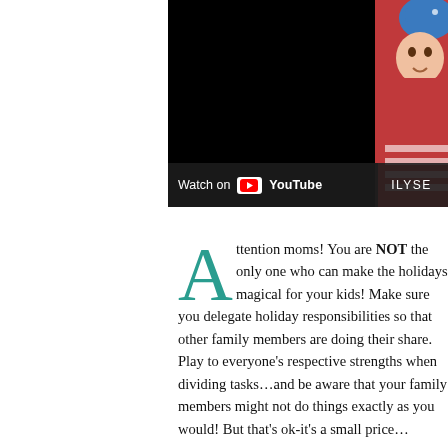[Figure (screenshot): YouTube video embed showing a black video area on the left with a 'Watch on YouTube' overlay bar, and a cropped illustrated book cover on the right with a red background and partial text 'ILYSE'. The illustration shows a cartoon character with blue hat.]
Attention moms! You are NOT the only one who can make the holidays magical for your kids! Make sure you delegate holiday responsibilities so that other family members are doing their share. Play to everyone's respective strengths when dividing tasks…and be aware that your family members might not do things exactly as you would! But that's ok-it's a small price…